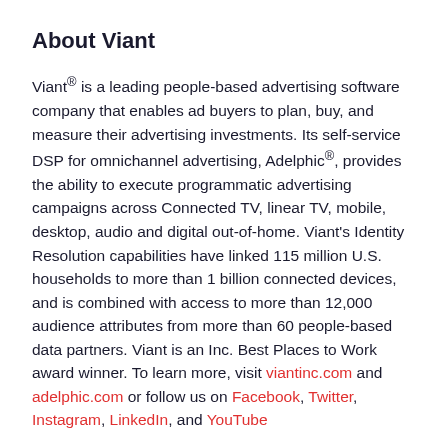About Viant
Viant® is a leading people-based advertising software company that enables ad buyers to plan, buy, and measure their advertising investments. Its self-service DSP for omnichannel advertising, Adelphic®, provides the ability to execute programmatic advertising campaigns across Connected TV, linear TV, mobile, desktop, audio and digital out-of-home. Viant's Identity Resolution capabilities have linked 115 million U.S. households to more than 1 billion connected devices, and is combined with access to more than 12,000 audience attributes from more than 60 people-based data partners. Viant is an Inc. Best Places to Work award winner. To learn more, visit viantinc.com and adelphic.com or follow us on Facebook, Twitter, Instagram, LinkedIn, and YouTube